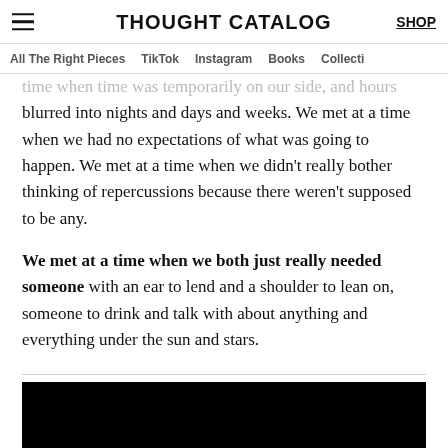THOUGHT CATALOG | SHOP | ≡
All The Right Pieces | TikTok | Instagram | Books | Collecti
time when time was temporarily on our side, and hours blurred into nights and days and weeks. We met at a time when we had no expectations of what was going to happen. We met at a time when we didn't really bother thinking of repercussions because there weren't supposed to be any.
We met at a time when we both just really needed someone with an ear to lend and a shoulder to lean on, someone to drink and talk with about anything and everything under the sun and stars.
[Figure (screenshot): Embedded video player with black upper portion and gray lower portion showing a play button triangle]